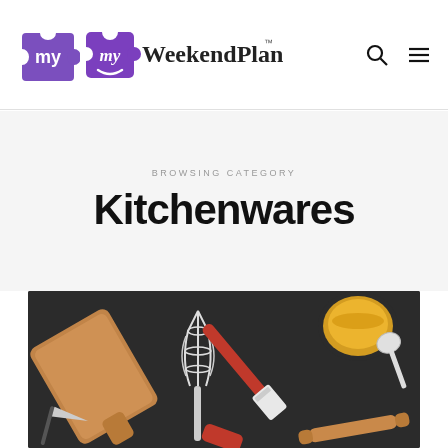[Figure (logo): MyWeekendPlan logo with purple puzzle piece icon and serif text]
BROWSING CATEGORY
Kitchenwares
[Figure (photo): Dark background photo of kitchen utensils including a wooden cutting board, whisk, spatula, knife, and bowl with liquid]